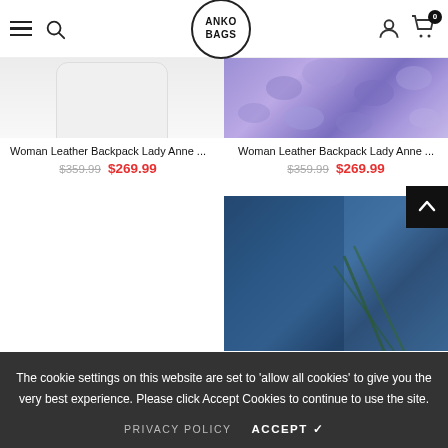ANKO BAGS - navigation header with hamburger menu, search, logo, user icon, cart
[Figure (photo): Woman leather backpack product image on white background, partially cropped at top]
Woman Leather Backpack Lady Anne ...
$359.99  $269.99
[Figure (photo): Woman leather backpack product image with purple lavender flowers background, partially cropped at top]
Woman Leather Backpack Lady Anne ...
$359.99  $269.99
[Figure (photo): Light blue/grey small round leather backpack with Sale badge, partially cropped]
[Figure (photo): Backpack near blue glass building with plants, Sale badge, partially cropped]
The cookie settings on this website are set to 'allow all cookies' to give you the very best experience. Please click Accept Cookies to continue to use the site.
PRIVACY POLICY  ACCEPT ✓